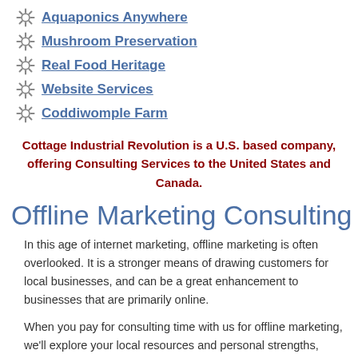Aquaponics Anywhere
Mushroom Preservation
Real Food Heritage
Website Services
Coddiwomple Farm
Cottage Industrial Revolution is a U.S. based company, offering Consulting Services to the United States and Canada.
Offline Marketing Consulting
In this age of internet marketing, offline marketing is often overlooked. It is a stronger means of drawing customers for local businesses, and can be a great enhancement to businesses that are primarily online.
When you pay for consulting time with us for offline marketing, we'll explore your local resources and personal strengths, teach you a little about some of the areas you may be uncertain about, and then